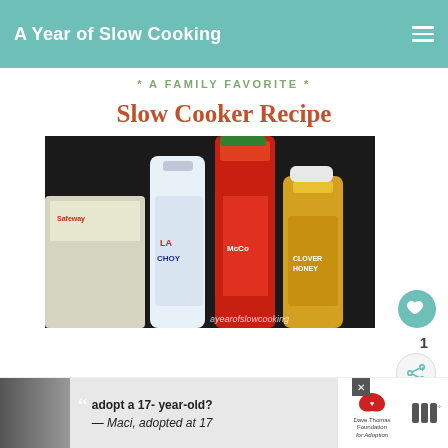A Year of Slow Cooking
* A FAMILY FAVORITE *
Slow Cooker Recipe
[Figure (photo): Photo of ingredients including La Choy soy sauce bottle, McCormick spice, and Clover Honey jar on a counter with Safeway packaging. Watermark: ayearofslowcooking]
1
WHAT'S NEXT → Best Slow Cooker...
adopt a 17- year-old? — Maci, adopted at 17
Dave Thomas Foundation for Adoption